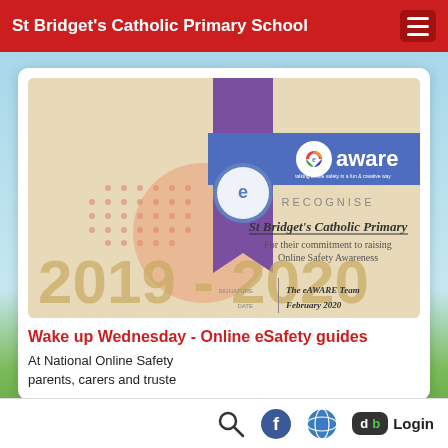St Bridget's Catholic Primary School
[Figure (illustration): eAWARE certificate recognising St Bridget's Catholic Primary for their commitment to raising Online Safety Awareness, 2019-2020, signed by The eAWARE Team, February 2020]
Wake up Wednesday - Online eSafety guides
At National Online Safety parents, carers and truste